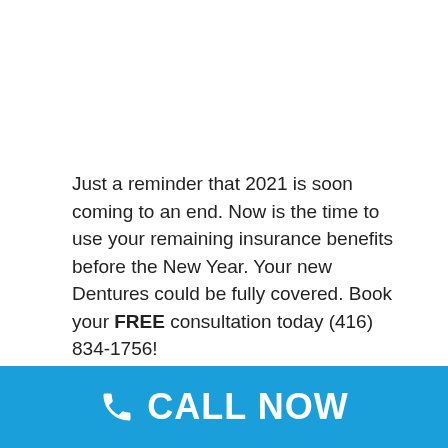Just a reminder that 2021 is soon coming to an end. Now is the time to use your remaining insurance benefits before the New Year. Your new Dentures could be fully covered. Book your FREE consultation today (416) 834-1756!
http://www.wellnessdentureclinic.ca
#denturereline #newdentures #denturerepair #dentures #smile #newdenturessmile #newsmile #dentureclinic #fulldenture #senior #denture #partialdenture
[Figure (infographic): Blue call-to-action bar at bottom with phone icon and 'CALL NOW' text in white on blue background]